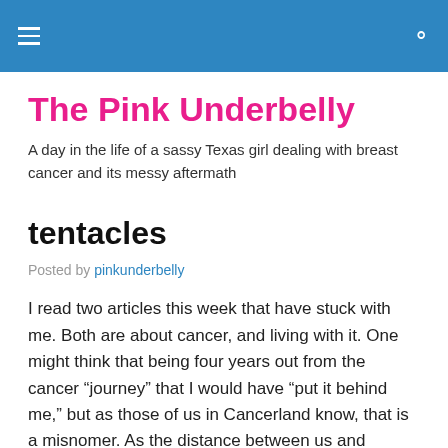≡  🔍
The Pink Underbelly
A day in the life of a sassy Texas girl dealing with breast cancer and its messy aftermath
tentacles
Posted by pinkunderbelly
I read two articles this week that have stuck with me. Both are about cancer, and living with it. One might think that being four years out from the cancer “journey” that I would have “put it behind me,” but as those of us in Cancerland know, that is a misnomer. As the distance between us and cancer becomes greater, the instances of cancer